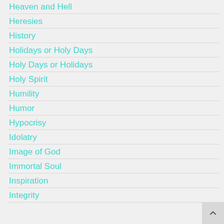Heaven and Hell
Heresies
History
Holidays or Holy Days
Holy Days or Holidays
Holy Spirit
Humility
Humor
Hypocrisy
Idolatry
Image of God
Immortal Soul
Inspiration
Integrity